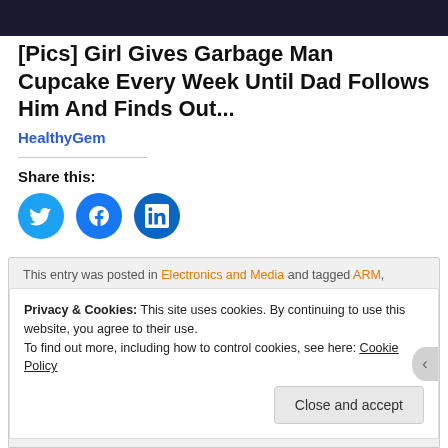[Figure (photo): Dark photo strip at the top of the page showing a person outdoors]
[Pics] Girl Gives Garbage Man Cupcake Every Week Until Dad Follows Him And Finds Out...
HealthyGem
Share this:
[Figure (infographic): Three circular social share buttons: Twitter (blue), Facebook (blue), LinkedIn (dark blue)]
This entry was posted in Electronics and Media and tagged ARM,
Privacy & Cookies: This site uses cookies. By continuing to use this website, you agree to their use.
To find out more, including how to control cookies, see here: Cookie Policy
Close and accept